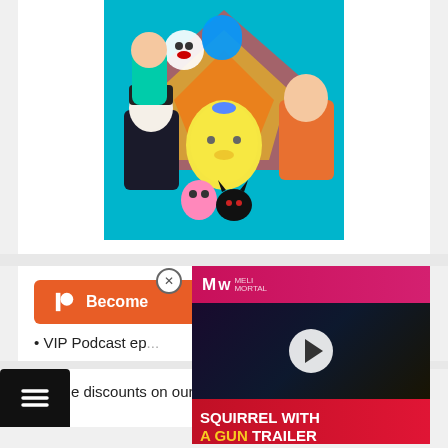[Figure (illustration): Colorful anime/cartoon character collage illustration with multiple characters on a vibrant multi-colored background]
[Figure (screenshot): Video advertisement overlay showing 'MELI MORTAL' logo at top, dark gaming scene with play button, and text 'SQUIRREL WITH A GUN TRAILER' in red and yellow]
[Figure (other): Orange Patreon button with P icon and 'Become' text (partially obscured by video ad)]
• VIP Podcast ep...
• Huge discounts on our books
[Figure (other): Black menu icon box with hamburger (three lines) icon]